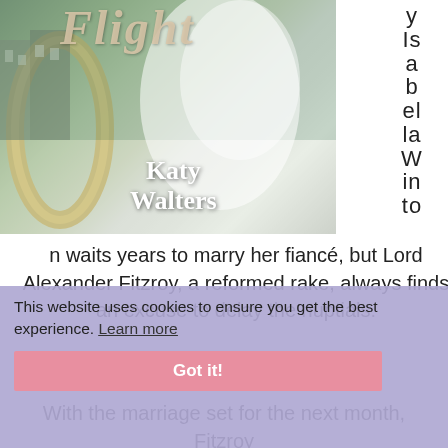[Figure (photo): Book cover for a romance novel showing a wedding veil, buildings reflected in water, and a gold ring. Author name 'Katy Walters' visible on cover. Title partially visible as 'Flight' in cursive.]
Isabella Winton waits years to marry her fiancé, but Lord Alexander Fitzroy, a reformed rake, always finds an excuse to delay the nuptials.
This website uses cookies to ensure you get the best experience.
Learn more
Got it!
With the marriage set for the next month, Fitzroy